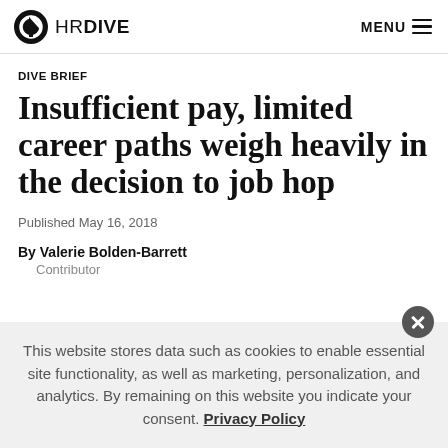HR DIVE  MENU
DIVE BRIEF
Insufficient pay, limited career paths weigh heavily in the decision to job hop
Published May 16, 2018
By Valerie Bolden-Barrett
Contributor
This website stores data such as cookies to enable essential site functionality, as well as marketing, personalization, and analytics. By remaining on this website you indicate your consent. Privacy Policy